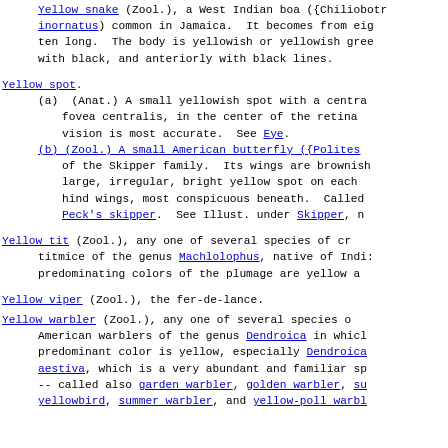Yellow snake (Zool.), a West Indian boa ({Chiliobotha inornatus) common in Jamaica. It becomes from eight to ten long. The body is yellowish or yellowish green with black, and anteriorly with black lines.
Yellow spot.
(a) (Anat.) A small yellowish spot with a central pit, fovea centralis, in the center of the retina where vision is most accurate. See Eye.
(b) (Zool.) A small American butterfly ({Polites ...) of the Skipper family. Its wings are brownish with a large, irregular, bright yellow spot on each of the hind wings, most conspicuous beneath. Called also Peck's skipper. See Illust. under Skipper, n
Yellow tit (Zool.), any one of several species of crested titmice of the genus Machlolophus, native of India; the predominating colors of the plumage are yellow and
Yellow viper (Zool.), the fer-de-lance.
Yellow warbler (Zool.), any one of several species of American warblers of the genus Dendroica in which the predominant color is yellow, especially Dendroica aestiva, which is a very abundant and familiar sp -- called also garden warbler, golden warbler, su yellowbird, summer warbler, and yellow-poll warbl